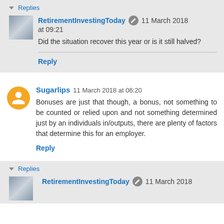▾ Replies
RetirementInvestingToday ✎ 11 March 2018 at 09:21
Did the situation recover this year or is it still halved?
Reply
Sugarlips  11 March 2018 at 06:20
Bonuses are just that though, a bonus, not something to be counted or relied upon and not something determined just by an individuals in/outputs, there are plenty of factors that determine this for an employer.
Reply
▾ Replies
RetirementInvestingToday ✎ 11 March 2018